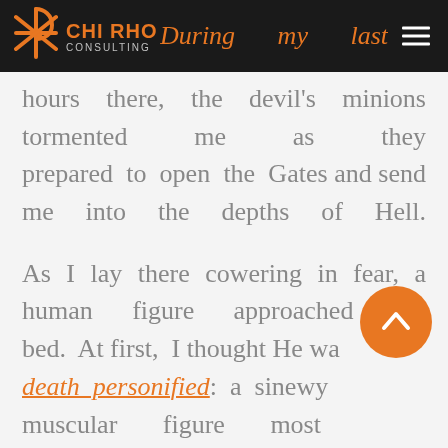Chi Rho Consulting — During my last hours there, the devil's minions
hours there, the devil's minions tormented me as they prepared to open the Gates and send me into the depths of Hell.
As I lay there cowering in fear, a human figure approached my bed. At first, I thought He was death personified: a sinewy muscular figure most awesomely terrifying. So much